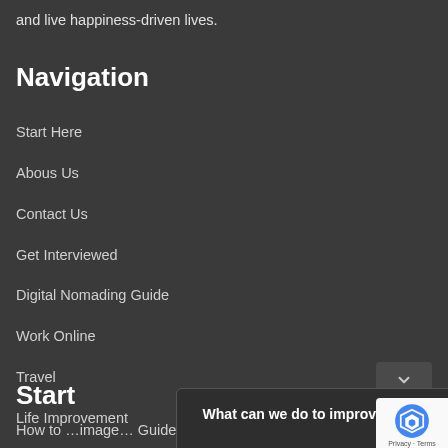and live happiness-driven lives.
Navigation
Start Here
Abous Us
Contact Us
Get Interviewed
Digital Nomading Guide
Work Online
Travel
Life Improvement
Start
How to […] Guide)
What can we do to improve this page or the site? We would love to get your feedback!